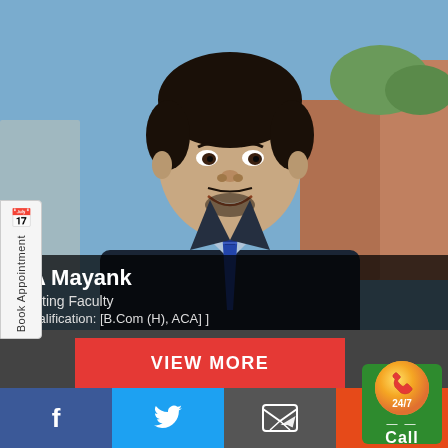[Figure (photo): Headshot photo of CA Mayank, a young man in a dark suit and tie, smiling, with an outdoor blurred background]
Book Appointment
CA Mayank
Auditing Faculty
[ Qualification: [B.Com (H), ACA] ]
24/7 Call
VIEW MORE
f
🐦
✉
+